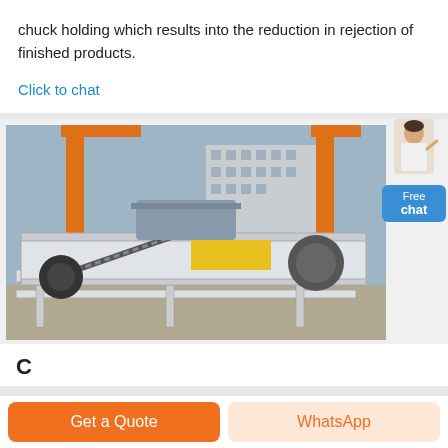chuck holding which results into the reduction in rejection of finished products.
Click to chat
[Figure (photo): Industrial conveyor/crusher machine equipment photographed outdoors at a factory or construction site. Orange crane structures visible in background along with a multi-story building. The machine features white metal frames, a chain drive mechanism, rollers, and a large cylindrical drum.]
C... (partial heading text cut off at bottom)
Get a Quote
WhatsApp